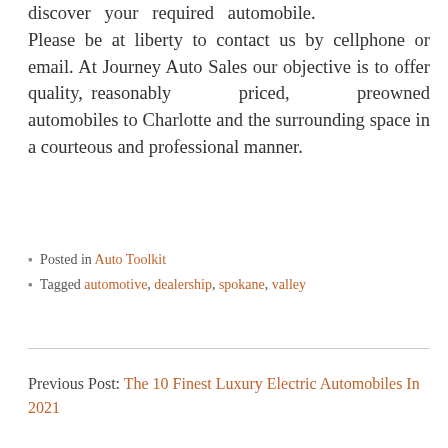discover your required automobile. Please be at liberty to contact us by cellphone or email. At Journey Auto Sales our objective is to offer quality, reasonably priced, preowned automobiles to Charlotte and the surrounding space in a courteous and professional manner.
Posted in Auto Toolkit
Tagged automotive, dealership, spokane, valley
Previous Post: The 10 Finest Luxury Electric Automobiles In 2021